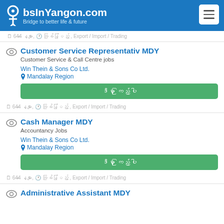JobsInYangon.com — Bridge to better life & future
644 နေ့များ, အခြိန်ပြည့် , Export / Import / Trading
Customer Service Representativ MDY
Customer Service & Call Centre jobs
Win Thein & Sons Co Ltd.
Mandalay Region
ဒီမှာ ကြည့်ပါ
644 နေ့များ, အခြိန်ပြည့် , Export / Import / Trading
Cash Manager MDY
Accountancy Jobs
Win Thein & Sons Co Ltd.
Mandalay Region
ဒီမှာ ကြည့်ပါ
644 နေ့များ, အခြိန်ပြည့် , Export / Import / Trading
Administrative Assistant MDY